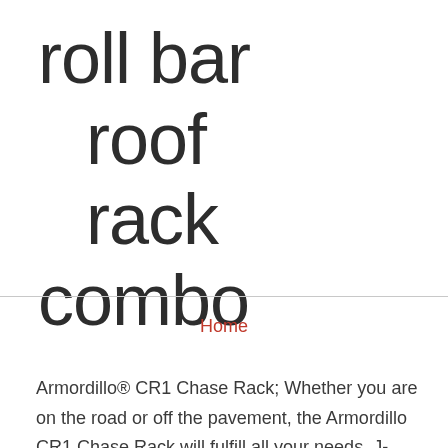roll bar roof rack combo
Home
Armordillo® CR1 Chase Rack; Whether you are on the road or off the pavement, the Armordillo CR1 Chase Rack will fulfill all your needs. J-cradles / J-bars carry the kayak on its side. Go traditional with the classic look of Go Rhino